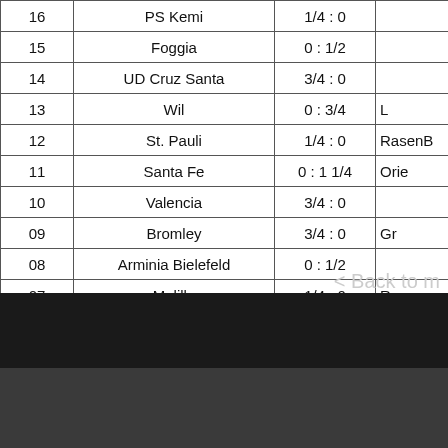| # | Team | Score | Opponent |
| --- | --- | --- | --- |
| 16 | PS Kemi | 1/4 : 0 |  |
| 15 | Foggia | 0 : 1/2 |  |
| 14 | UD Cruz Santa | 3/4 : 0 |  |
| 13 | Wil | 0 : 3/4 | L |
| 12 | St. Pauli | 1/4 : 0 | RasenB |
| 11 | Santa Fe | 0 : 1 1/4 | Orie |
| 10 | Valencia | 3/4 : 0 |  |
| 09 | Bromley | 3/4 : 0 | Gr |
| 08 | Arminia Bielefeld | 0 : 1/2 |  |
| 07 | Melilla | 1/4 : 0 | R |
| 06 | Optik Rathenow | 3/4 : 0 | RasenB |
| 05 | Clermont Foot | 0 : 1/2 |  |
| 04 | IFK Norrkoeping | 1 1/4 : 0 | Zenit |
| 03 | Lazio | 1/2 : 0 | S |
| 02 | Botafogo RJ | 0 : 1 | Po |
| 01 | Lokomotiv Moscow | 0 : 3/4 | IFK |
< Back to m